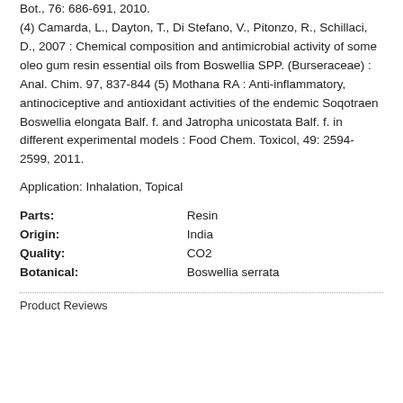Bot., 76: 686-691, 2010. (4) Camarda, L., Dayton, T., Di Stefano, V., Pitonzo, R., Schillaci, D., 2007 : Chemical composition and antimicrobial activity of some oleo gum resin essential oils from Boswellia SPP. (Burseraceae) : Anal. Chim. 97, 837-844 (5) Mothana RA : Anti-inflammatory, antinociceptive and antioxidant activities of the endemic Soqotraen Boswellia elongata Balf. f. and Jatropha unicostata Balf. f. in different experimental models : Food Chem. Toxicol, 49: 2594-2599, 2011.
Application: Inhalation, Topical
| Property | Value |
| --- | --- |
| Parts: | Resin |
| Origin: | India |
| Quality: | CO2 |
| Botanical: | Boswellia serrata |
Product Reviews